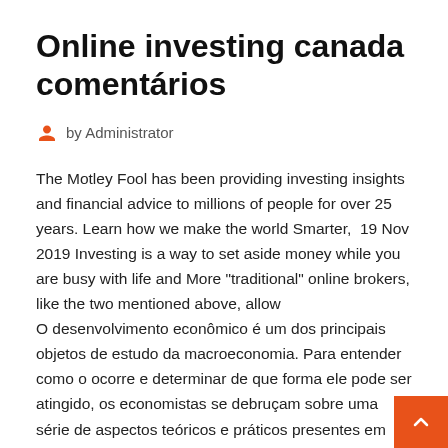Online investing canada comentários
by Administrator
The Motley Fool has been providing investing insights and financial advice to millions of people for over 25 years. Learn how we make the world Smarter,  19 Nov 2019 Investing is a way to set aside money while you are busy with life and More "traditional" online brokers, like the two mentioned above, allow
O desenvolvimento econômico é um dos principais objetos de estudo da macroeconomia. Para entender como o ocorre e determinar de que forma ele pode ser atingido, os economistas se debruçam sobre uma série de aspectos teóricos e práticos presentes em uma sociedade. Stay on top of current and historical data relating to Germany 10-Year Yield. The yield on a Treasury bill represents the return an investors will get by holding the bond to maturity and